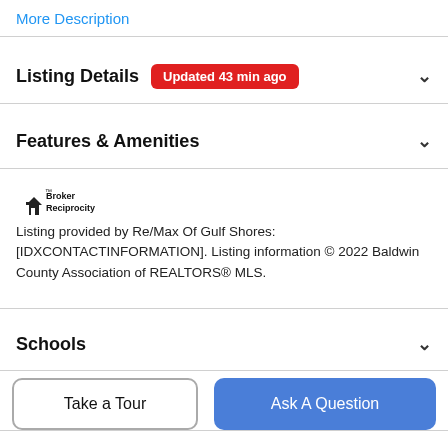More Description
Listing Details Updated 43 min ago
Features & Amenities
[Figure (logo): Broker Reciprocity logo with house icon]
Listing provided by Re/Max Of Gulf Shores: [IDXCONTACTINFORMATION]. Listing information © 2022 Baldwin County Association of REALTORS® MLS.
Schools
Payment Calculator
Take a Tour
Ask A Question